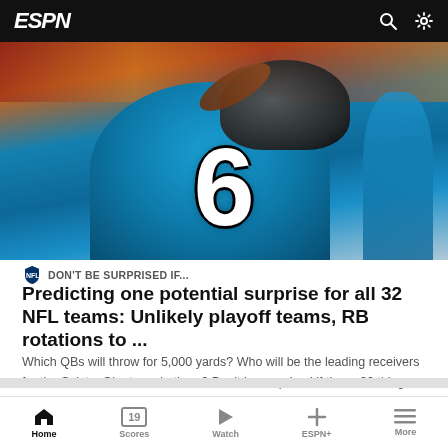ESPN
[Figure (photo): Carolina Panthers quarterback #6 in teal jersey throwing a pass, with defenders and crowd in background]
DON'T BE SURPRISED IF...
Predicting one potential surprise for all 32 NFL teams: Unlikely playoff teams, RB rotations to ...
Which QBs will throw for 5,000 yards? Who will be the leading receivers for the Saints, Giants and others? Don't be surprised if these 32 things happen.
ESPN+ • 3h • Dan Graziano
TOP HEADLINES
Source: QB Blough joins Boyle on Lions' cut list
Home  Scores  Watch  ESPN+  More